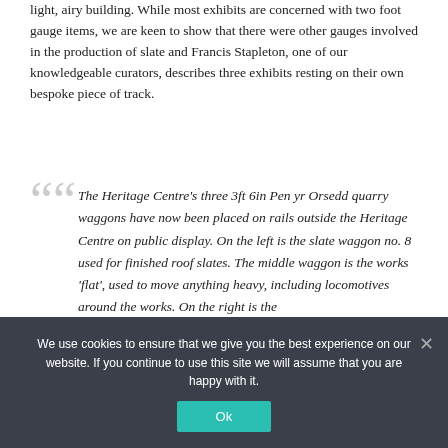light, airy building. While most exhibits are concerned with two foot gauge items, we are keen to show that there were other gauges involved in the production of slate and Francis Stapleton, one of our knowledgeable curators, describes three exhibits resting on their own bespoke piece of track.
The Heritage Centre's three 3ft 6in Pen yr Orsedd quarry waggons have now been placed on rails outside the Heritage Centre on public display. On the left is the slate waggon no. 8 used for finished roof slates. The middle waggon is the works 'flat', used to move anything heavy, including locomotives around the works. On the right is the
We use cookies to ensure that we give you the best experience on our website. If you continue to use this site we will assume that you are happy with it.